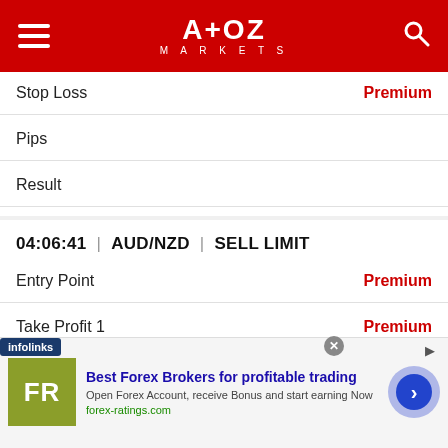[Figure (screenshot): A+OZ Markets website header with hamburger menu, logo, and search icon on red background]
Stop Loss | Premium
Pips
Result
04:06:41 | AUD/NZD | SELL LIMIT
Entry Point | Premium
Take Profit 1 | Premium
Take Profit 2 | Premium
Take Profit 3 | Premium
[Stop Lo]ss | Premium
[Figure (screenshot): Infolinks ad banner: Best Forex Brokers for profitable trading — forex-ratings.com]